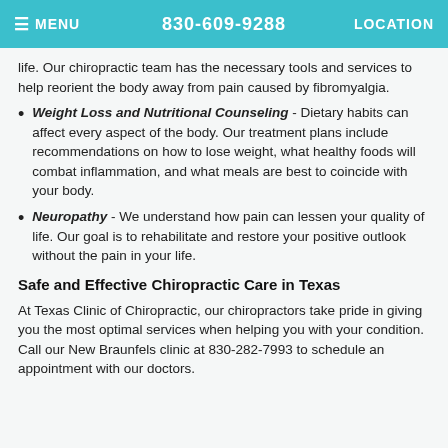≡ MENU   830-609-9288   LOCATION
life. Our chiropractic team has the necessary tools and services to help reorient the body away from pain caused by fibromyalgia.
Weight Loss and Nutritional Counseling - Dietary habits can affect every aspect of the body. Our treatment plans include recommendations on how to lose weight, what healthy foods will combat inflammation, and what meals are best to coincide with your body.
Neuropathy - We understand how pain can lessen your quality of life. Our goal is to rehabilitate and restore your positive outlook without the pain in your life.
Safe and Effective Chiropractic Care in Texas
At Texas Clinic of Chiropractic, our chiropractors take pride in giving you the most optimal services when helping you with your condition. Call our New Braunfels clinic at 830-282-7993 to schedule an appointment with our doctors.